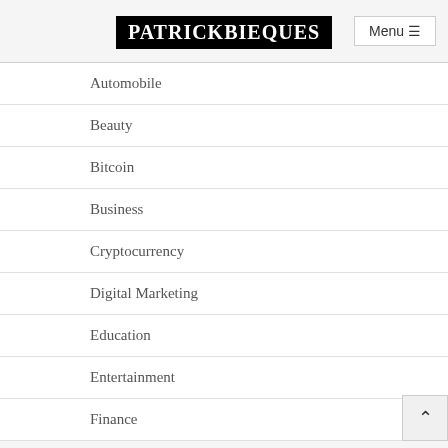PATRICKBIEQUES
Automobile
Beauty
Bitcoin
Business
Cryptocurrency
Digital Marketing
Education
Entertainment
Finance